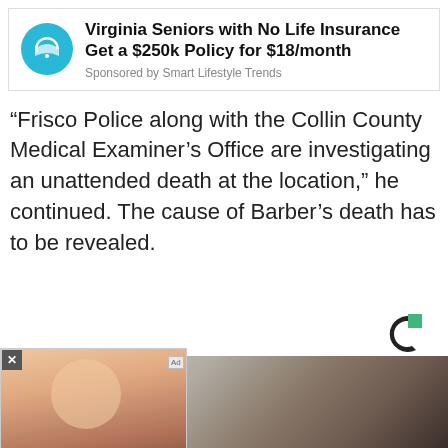[Figure (other): Advertisement banner: Virginia Seniors with No Life Insurance Get a $250k Policy for $18/month. Sponsored by Smart Lifestyle Trends. Cyan umbrella icon on left.]
“Frisco Police along with the Collin County Medical Examiner’s Office are investigating an unattended death at the location,” he continued. The cause of Barber’s death has to be revealed.
[Figure (logo): Coin or brand logo - dark circular C shape with green square accent, top right area]
[Figure (photo): Background photo of what appears to be a white device or object with a dark hand/shadow and a barcode visible]
[Figure (other): Overlay advertisement popup: photo of elderly woman wearing glasses and pearl earrings. Ad text: Virginia Seniors with No Life Insurance Get a $250k Policy for $18/month. Sponsored by Smart Lifestyle Trends. Close X button in corner. Ad badge.]